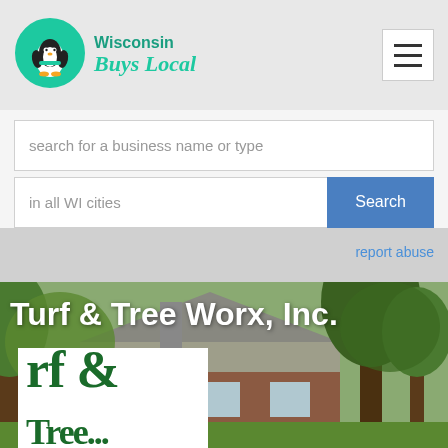[Figure (logo): Wisconsin Buys Local logo with penguin in teal circle and teal text]
[Figure (infographic): Hamburger/menu icon button in top right corner]
search for a business name or type
in all WI cities
Search
report abuse
Turf & Tree Worx, Inc.
[Figure (photo): Background photo of trees and house exterior with brick facade]
[Figure (photo): White sign inset showing green text 'rf &' partial Turf & Tree Worx sign]